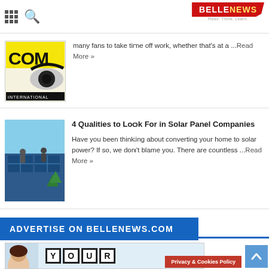BELLENEWS — Read. Think. Learn.
many fans to take time off work, whether that's at a ...Read More »
4 Qualities to Look For in Solar Panel Companies
Have you been thinking about converting your home to solar power? If so, we don't blame you. There are countless ...Read More »
ADVERTISE ON BELLENEWS.COM
[Figure (photo): Advertisement image showing a woman and YOUR text blocks]
Privacy & Cookies Policy